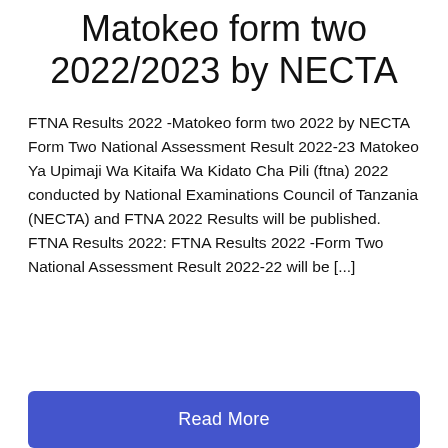Matokeo form two 2022/2023 by NECTA
FTNA Results 2022 -Matokeo form two 2022 by NECTA Form Two National Assessment Result 2022-23 Matokeo Ya Upimaji Wa Kitaifa Wa Kidato Cha Pili (ftna) 2022 conducted by National Examinations Council of Tanzania (NECTA) and FTNA 2022 Results will be published. FTNA Results 2022: FTNA Results 2022 -Form Two National Assessment Result 2022-22 will be [...]
Read More